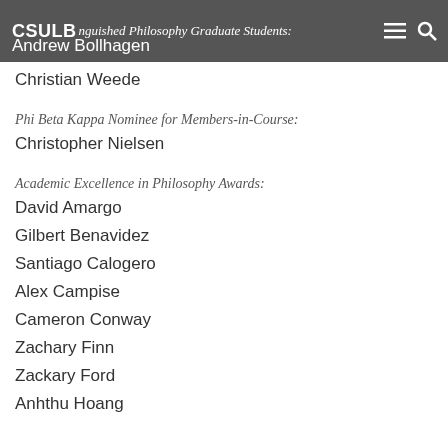CSULB | Distinguished Philosophy Graduate Students:
Andrew Bollhagen
Christian Weede
Phi Beta Kappa Nominee for Members-in-Course:
Christopher Nielsen
Academic Excellence in Philosophy Awards:
David Amargo
Gilbert Benavidez
Santiago Calogero
Alex Campise
Cameron Conway
Zachary Finn
Zackary Ford
Anhthu Hoang